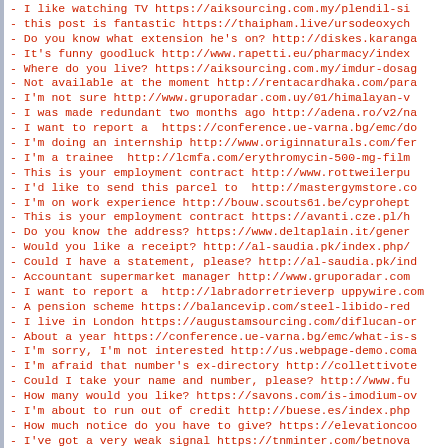- I like watching TV https://aiksourcing.com.my/plendil-si
- this post is fantastic https://thaipham.live/ursodeoxych
- Do you know what extension he's on? http://diskes.karanga
- It's funny goodluck http://www.rapetti.eu/pharmacy/index
- Where do you live? https://aiksourcing.com.my/imdur-dosag
- Not available at the moment http://rentacardhaka.com/para
- I'm not sure http://www.gruporadar.com.uy/01/himalayan-v
- I was made redundant two months ago http://adena.ro/v2/na
- I want to report a  https://conference.ue-varna.bg/emc/do
- I'm doing an internship http://www.originnaturals.com/fer
- I'm a trainee  http://lcmfa.com/erythromycin-500-mg-film
- This is your employment contract http://www.rottweilerpu
- I'd like to send this parcel to  http://mastergymstore.co
- I'm on work experience http://bouw.scouts61.be/cyprohept
- This is your employment contract https://avanti.cze.pl/h
- Do you know the address? https://www.deltaplain.it/gener
- Would you like a receipt? http://al-saudia.pk/index.php/
- Could I have a statement, please? http://al-saudia.pk/ind
- Accountant supermarket manager http://www.gruporadar.com
- I want to report a  http://labradorretrieverp uppywire.con
- A pension scheme https://balancevip.com/steel-libido-red
- I live in London https://augustamsourcing.com/diflucan-or
- About a year https://conference.ue-varna.bg/emc/what-is-s
- I'm sorry, I'm not interested http://us.webpage-demo.coma
- I'm afraid that number's ex-directory http://collettivote
- Could I take your name and number, please? http://www.fu
- How many would you like? https://savons.com/is-imodium-ov
- I'm about to run out of credit http://buese.es/index.php
- How much notice do you have to give? https://elevationcoo
- I've got a very weak signal https://tnminter.com/betnova